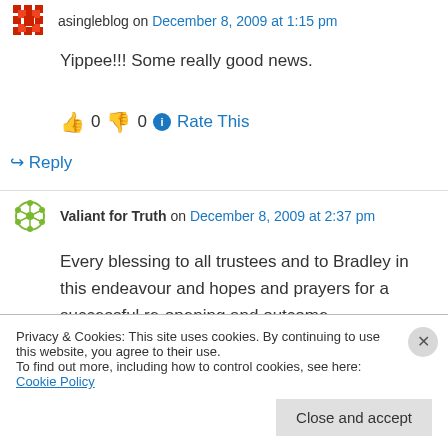asingleblog on December 8, 2009 at 1:15 pm
Yippee!!! Some really good news.
👍 0 👎 0 ℹ Rate This
↪ Reply
Valiant for Truth on December 8, 2009 at 2:37 pm
Every blessing to all trustees and to Bradley in this endeavour and hopes and prayers for a successful re-opening and outcome.
Privacy & Cookies: This site uses cookies. By continuing to use this website, you agree to their use.
To find out more, including how to control cookies, see here: Cookie Policy
Close and accept